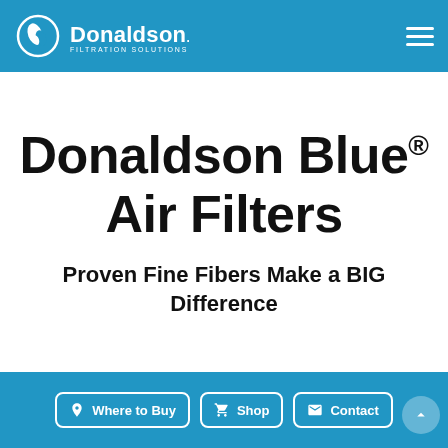Donaldson Filtration Solutions
Donaldson Blue® Air Filters
Proven Fine Fibers Make a BIG Difference
Where to Buy  Shop  Contact